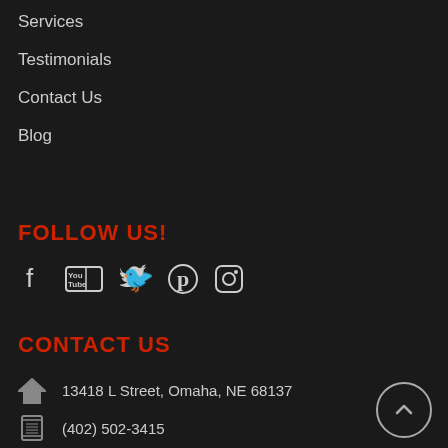Services
Testimonials
Contact Us
Blog
FOLLOW US!
[Figure (infographic): Social media icons: Facebook, YouTube, Twitter, Pinterest, Instagram]
CONTACT US
13418 L Street, Omaha, NE 68137
(402) 502-3415